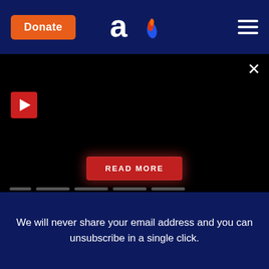Donate | aish.com logo | hamburger menu
[Figure (screenshot): Black banner/video panel with red play button, X close button, and red glowing READ MORE button]
We will never share your email address and you can unsubscribe in a single click.
[Figure (logo): aish. logo in white with orange flame dot, on dark blue background]